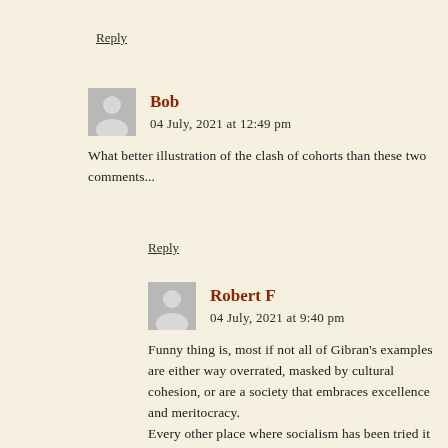Reply
Bob
04 July, 2021 at 12:49 pm
What better illustration of the clash of cohorts than these two comments...
Reply
Robert F
04 July, 2021 at 9:40 pm
Funny thing is, most if not all of Gibran's examples are either way overrated, masked by cultural cohesion, or are a society that embraces excellence and meritocracy.
Every other place where socialism has been tried it has failed.